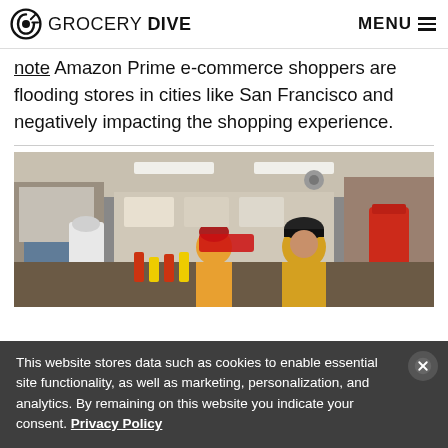GROCERY DIVE  MENU
note Amazon Prime e-commerce shoppers are flooding stores in cities like San Francisco and negatively impacting the shopping experience.
[Figure (photo): Interior of a busy grocery or deli store with workers and customers at a counter, fluorescent lighting, refrigerators in background, a worker in a yellow shirt and cap visible in foreground.]
This website stores data such as cookies to enable essential site functionality, as well as marketing, personalization, and analytics. By remaining on this website you indicate your consent. Privacy Policy